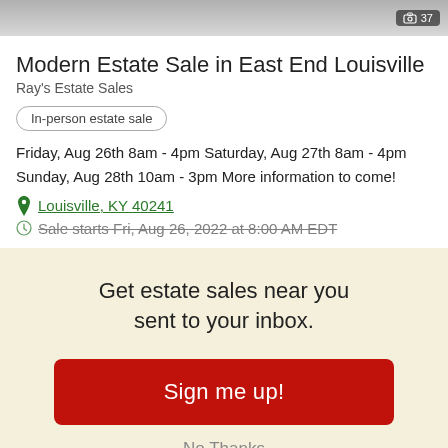[Figure (photo): Partial estate sale photo with photo counter badge showing 37 photos]
Modern Estate Sale in East End Louisville
Ray's Estate Sales
In-person estate sale
Friday, Aug 26th 8am - 4pm Saturday, Aug 27th 8am - 4pm Sunday, Aug 28th 10am - 3pm More information to come!
Louisville, KY 40241
Sale starts Fri, Aug 26, 2022 at 8:00 AM EDT
Get estate sales near you sent to your inbox.
Sign me up!
No Thanks